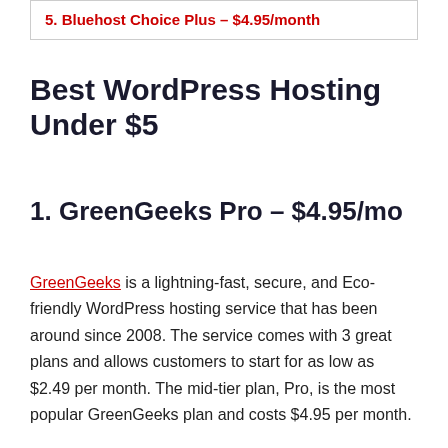5. Bluehost Choice Plus – $4.95/month
Best WordPress Hosting Under $5
1. GreenGeeks Pro – $4.95/mo
GreenGeeks is a lightning-fast, secure, and Eco-friendly WordPress hosting service that has been around since 2008. The service comes with 3 great plans and allows customers to start for as low as $2.49 per month. The mid-tier plan, Pro, is the most popular GreenGeeks plan and costs $4.95 per month.